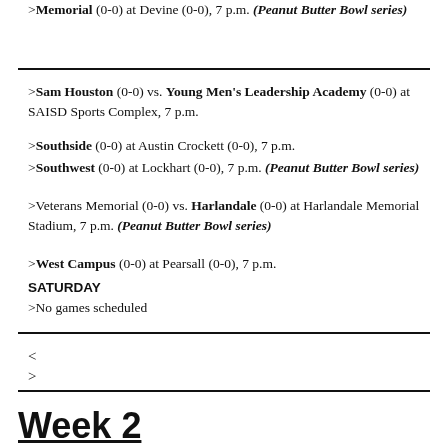>Memorial (0-0) at Devine (0-0), 7 p.m. (Peanut Butter Bowl series)
>Sam Houston (0-0) vs. Young Men's Leadership Academy (0-0) at SAISD Sports Complex, 7 p.m.
>Southside (0-0) at Austin Crockett (0-0), 7 p.m.
>Southwest (0-0) at Lockhart (0-0), 7 p.m. (Peanut Butter Bowl series)
>Veterans Memorial (0-0) vs. Harlandale (0-0) at Harlandale Memorial Stadium, 7 p.m. (Peanut Butter Bowl series)
>West Campus (0-0) at Pearsall (0-0), 7 p.m.
SATURDAY
>No games scheduled
<
>
Week 2